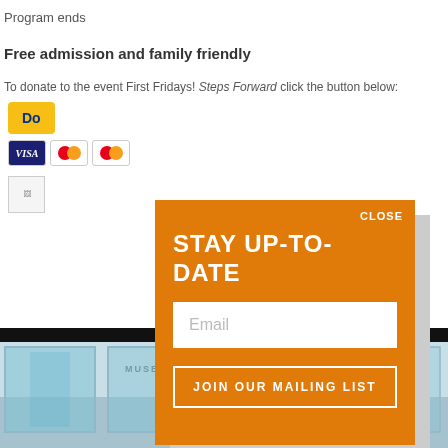Program ends
Free admission and family friendly
To donate to the event First Fridays! Steps Forward click the button below:
[Figure (screenshot): PayPal donate button with Visa, Mastercard, and Maestro card icons below it]
[Figure (screenshot): Small image placeholder icon]
[Figure (infographic): Orange modal popup dialog saying STAY UP-TO-DATE with an email input field and JOIN OUR MAILING LIST button, with CLOSE link at top right]
[Figure (photo): Photo of a museum exterior building with blue-tinted glass panels and people standing outside]